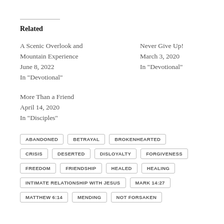Related
A Scenic Overlook and Mountain Experience
June 8, 2022
In "Devotional"
Never Give Up!
March 3, 2020
In "Devotional"
More Than a Friend
April 14, 2020
In "Disciples"
ABANDONED
BETRAYAL
BROKENHEARTED
CRISIS
DESERTED
DISLOYALTY
FORGIVENESS
FREEDOM
FRIENDSHIP
HEALED
HEALING
INTIMATE RELATIONSHIP WITH JESUS
MARK 14:27
MATTHEW 6:14
MENDING
NOT FORSAKEN